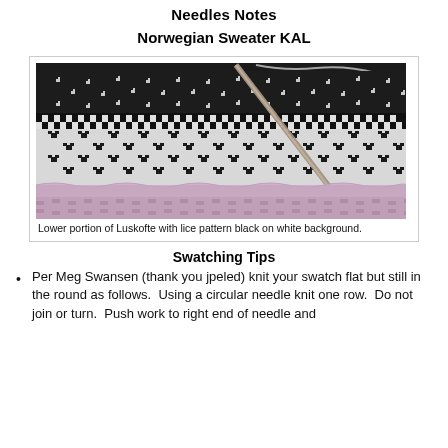Needles Notes
Norwegian Sweater KAL
[Figure (photo): Close-up photograph of a Luskofte knitting work in progress, showing a black and white Norwegian-style fair isle pattern with heart/lice motifs. A knitting needle is visible through the work. The lower portion shows lavender/pink yarn cast-on edge.]
Lower portion of Luskofte with lice pattern black on white background.
Swatching Tips
Per Meg Swansen (thank you jpeled) knit your swatch flat but still in the round as follows.  Using a circular needle knit one row.  Do not join or turn.  Push work to right end of needle and